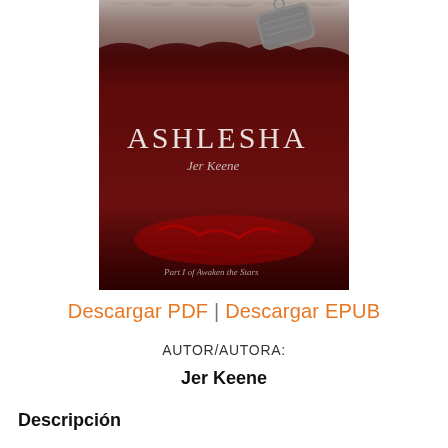[Figure (illustration): Book cover for 'Ashlesha' by Jer Keene. Dark red/maroon background with a dog tag visible at top right and blood-like streaks. Title 'ASHLESHA' in white serif font, author name 'Jer Keene' in smaller white italic font. Bottom text reads 'Part I of Awaken the Stars'.]
Descargar PDF | Descargar EPUB
AUTOR/AUTORA:
Jer Keene
Descripción